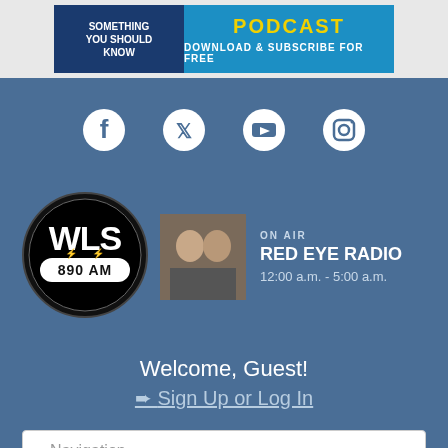[Figure (screenshot): Podcast banner advertisement for 'Something You Should Know' with blue background, yellow PODCAST text, and 'DOWNLOAD & SUBSCRIBE FOR FREE' tagline]
[Figure (infographic): Social media icons row: Facebook, Twitter, YouTube, Instagram on blue background]
[Figure (logo): WLS 890 AM radio station logo in black and white oval badge style]
[Figure (photo): On Air photo of Red Eye Radio hosts]
ON AIR
RED EYE RADIO
12:00 a.m. - 5:00 a.m.
Welcome, Guest!
➨ Sign Up or Log In
-- Navigation --